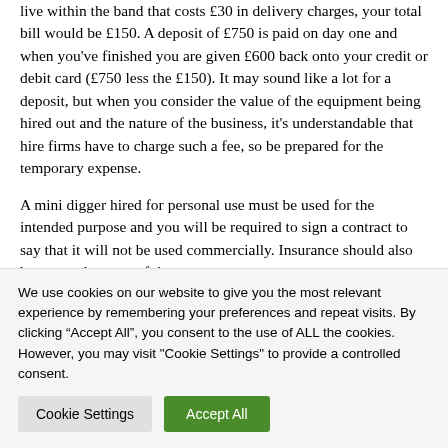live within the band that costs £30 in delivery charges, your total bill would be £150. A deposit of £750 is paid on day one and when you've finished you are given £600 back onto your credit or debit card (£750 less the £150). It may sound like a lot for a deposit, but when you consider the value of the equipment being hired out and the nature of the business, it's understandable that hire firms have to charge such a fee, so be prepared for the temporary expense.
A mini digger hired for personal use must be used for the intended purpose and you will be required to sign a contract to say that it will not be used commercially. Insurance should also be covered as part of the contract
We use cookies on our website to give you the most relevant experience by remembering your preferences and repeat visits. By clicking "Accept All", you consent to the use of ALL the cookies. However, you may visit "Cookie Settings" to provide a controlled consent.